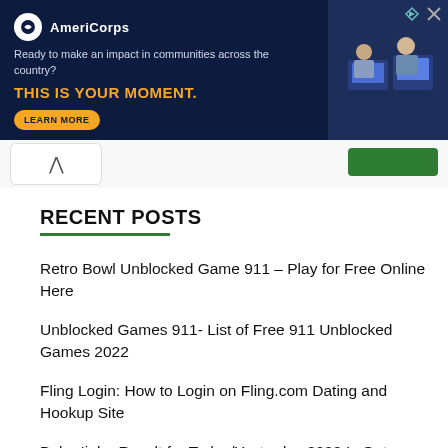[Figure (illustration): AmeriCorps advertisement banner with dark navy background, logo, tagline 'Ready to make an impact in communities across the country?', bold orange text 'THIS IS YOUR MOMENT.', a 'LEARN MORE' button, and a photo of people working at computers on the right.]
RECENT POSTS
Retro Bowl Unblocked Game 911 – Play for Free Online Here
Unblocked Games 911- List of Free 911 Unblocked Games 2022
Fling Login: How to Login on Fling.com Dating and Hookup Site
Baba Ijebu Result for Today/Yesterday 2022 Is Out: Check Here Now
Neco Result Checking Portal 2022 | NECO Result 2022 Is Out Online